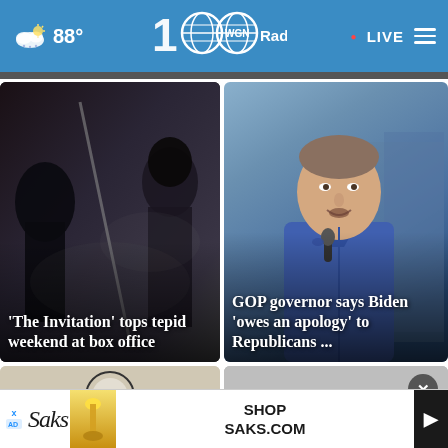☁ 88° WGN Radio 100 • LIVE ≡
[Figure (photo): Dark dramatic scene with two silhouetted figures and a staff or weapon, movie still from 'The Invitation']
'The Invitation' tops tepid weekend at box office
[Figure (photo): Photo of a GOP governor in a blue jacket speaking at a microphone outdoors]
GOP governor says Biden 'owes an apology' to Republicans ...
[Figure (photo): Partial view of news card at bottom left with WGN logo circle]
[Figure (photo): Partial view of news card at bottom right, grayed out]
[Figure (other): Saks advertisement banner: SHOP SAKS.COM]